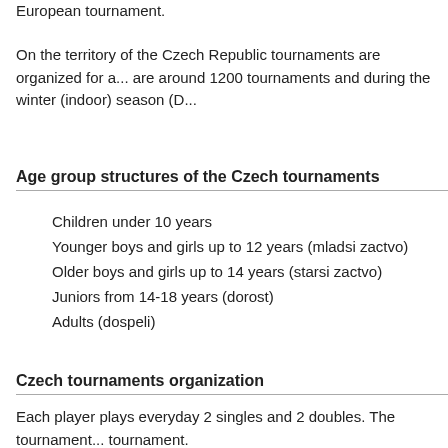European tournament.
On the territory of the Czech Republic tournaments are organized for a... are around 1200 tournaments and during the winter (indoor) season (D...
Age group structures of the Czech tournaments
Children under 10 years
Younger boys and girls up to 12 years (mladsi zactvo)
Older boys and girls up to 14 years (starsi zactvo)
Juniors from 14-18 years (dorost)
Adults (dospeli)
Czech tournaments organization
Each player plays everyday 2 singles and 2 doubles. The tournament... tournament.